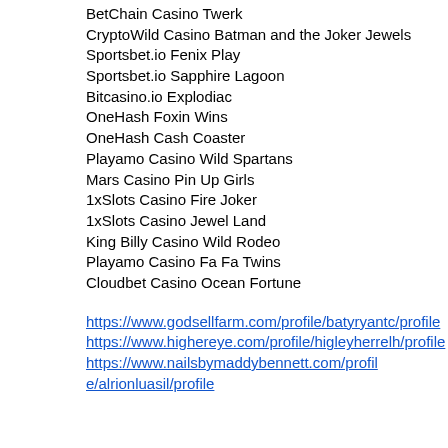BetChain Casino Twerk
CryptoWild Casino Batman and the Joker Jewels
Sportsbet.io Fenix Play
Sportsbet.io Sapphire Lagoon
Bitcasino.io Explodiac
OneHash Foxin Wins
OneHash Cash Coaster
Playamo Casino Wild Spartans
Mars Casino Pin Up Girls
1xSlots Casino Fire Joker
1xSlots Casino Jewel Land
King Billy Casino Wild Rodeo
Playamo Casino Fa Fa Twins
Cloudbet Casino Ocean Fortune
https://www.godsellfarm.com/profile/batyryantc/profile
https://www.highereye.com/profile/higleyherrelh/profile
https://www.nailsbymaddybennett.com/profile/alrionluasil/profile